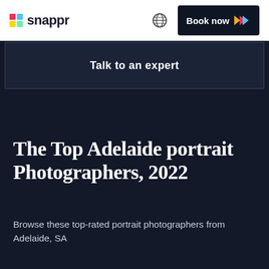snappr
Talk to an expert
The Top Adelaide portrait Photographers, 2022
Browse these top-rated portrait photographers from Adelaide, SA